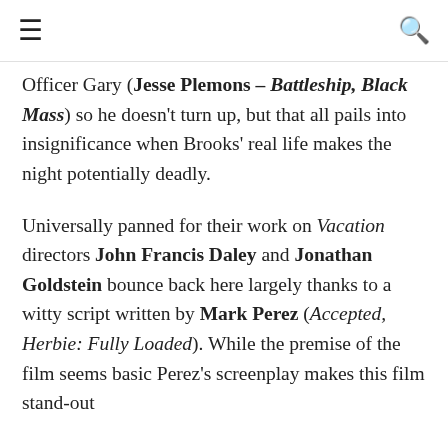≡  🔍
Officer Gary (Jesse Plemons – Battleship, Black Mass) so he doesn't turn up, but that all pails into insignificance when Brooks' real life makes the night potentially deadly.
Universally panned for their work on Vacation directors John Francis Daley and Jonathan Goldstein bounce back here largely thanks to a witty script written by Mark Perez (Accepted, Herbie: Fully Loaded). While the premise of the film seems basic Perez's screenplay makes this film stand-out